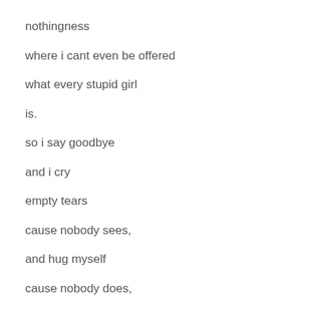nothingness
where i cant even be offered
what every stupid girl
is.
so i say goodbye
and i cry
empty tears
cause nobody sees,
and hug myself
cause nobody does,